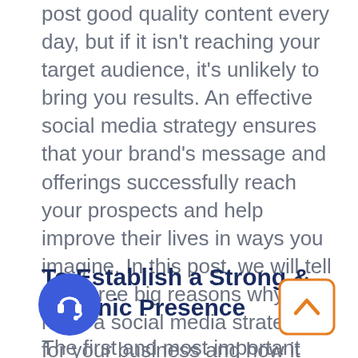post good quality content every day, but if it isn't reaching your target audience, it's unlikely to bring you results. An effective social media strategy ensures that your brand's message and offerings successfully reach your prospects and help improve their lives in ways you imagine. In this post, we will tell you three big reasons why you need a social media strategy for your business and how it can benefit you. Let's dive in:
To Establish a Strong & Organic Presence
The first and most important reason why you social media strategy is that it will h ye stablish a strong and organic online presence. With a strategy put in place, you can
[Figure (illustration): Blue circular chat/headset support icon with white headphone symbol]
[Figure (illustration): Orange/white rounded square scroll-to-top button with an upward pointing chevron arrow]